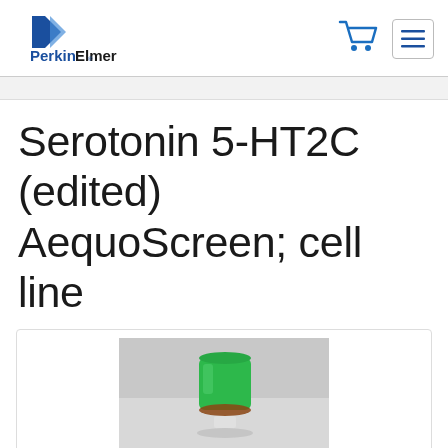[Figure (logo): PerkinElmer logo with tagline 'For the Better']
[Figure (illustration): Shopping cart icon (blue outline)]
[Figure (illustration): Hamburger menu icon in a bordered box]
Serotonin 5-HT2C (edited) AequoScreen; cell line
[Figure (photo): A small green cylindrical vial/tube cap placed on a white/grey surface, with a brownish gasket ring visible at the base.]